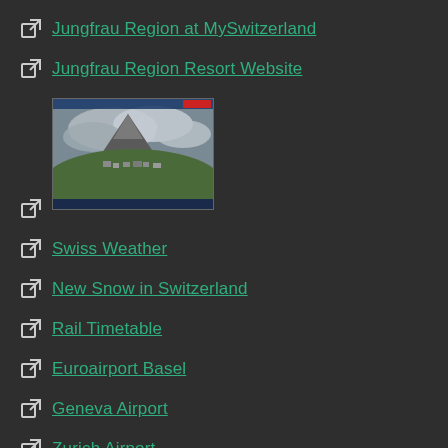Jungfrau Region at MySwitzerland
Jungfrau Region Resort Website
[Figure (photo): Webcam image of Jungfrau Region mountain landscape with cloudy sky, green hillside with buildings, and information overlay at bottom]
Swiss Weather
New Snow in Switzerland
Rail Timetable
Euroairport Basel
Geneva Airport
Zurich Airport